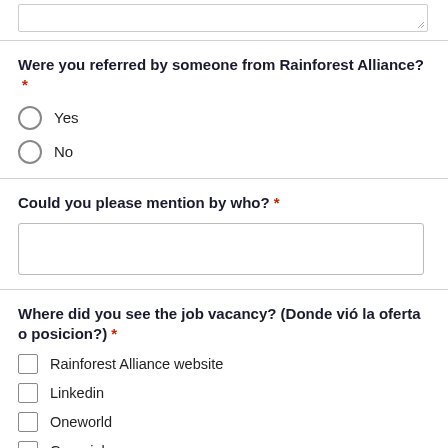[textarea at top]
Were you referred by someone from Rainforest Alliance? *
Yes
No
Could you please mention by who? *
[text input field]
Where did you see the job vacancy? (Donde vió la oferta o posicion?) *
Rainforest Alliance website
Linkedin
Oneworld
Greenjobs
ISEAL Alliance